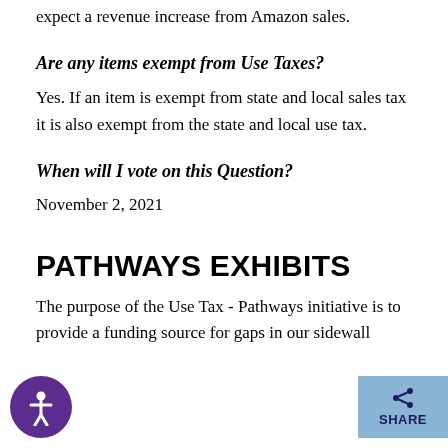expect a revenue increase from Amazon sales.
Are any items exempt from Use Taxes?
Yes. If an item is exempt from state and local sales tax it is also exempt from the state and local use tax.
When will I vote on this Question?
November 2, 2021
PATHWAYS EXHIBITS
The purpose of the Use Tax - Pathways initiative is to provide a funding source for gaps in our sidewall